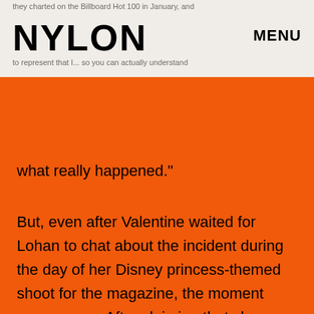they charted on the Billboard Hot 100 in January, and to represent that I... so you can actually understand what really happened.
NYLON
MENU
what really happened."
But, even after Valentine waited for Lohan to chat about the incident during the day of her Disney princess-themed shoot for the magazine, the moment never came. After claiming that she was too tired, through a representative via an email that came later, Lohan wrote, "I read the situation wrong. I've learned from it. And that's all I have to say."